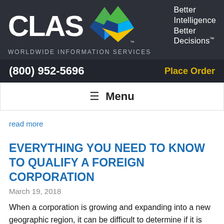[Figure (logo): CLAS Worldwide Information Services logo with diamond icon and tagline 'Better Intelligence Better Decisions']
(800) 952-5696   Place Order
≡ Menu
read more
EVERYTHING YOU NEED TO KNOW TO QUALIFY A FOREIGN CORPORATION
March 19, 2018
When a corporation is growing and expanding into a new geographic region, it can be difficult to determine if it is necessary to formally qualify in the new state - and figuring out how to facilitate the qualification can be daunting. In